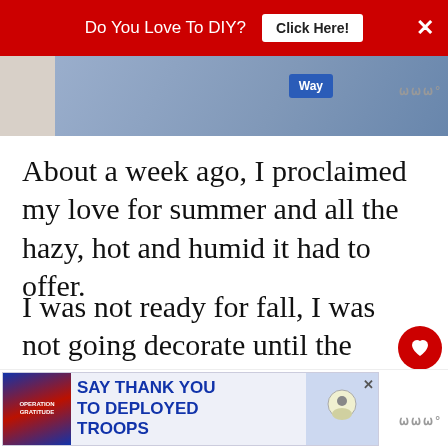[Figure (screenshot): Red banner ad at top: 'Do You Love To DIY? Click Here!' with X close button]
[Figure (photo): Partial view of person and advertisement image strip]
About a week ago, I proclaimed my love for summer and all the hazy, hot and humid it had to offer.
I was not ready for fall, I was not going decorate until the end of September or acknowledge its impending presence and the calendar forced me into it.
[Figure (screenshot): WHAT'S NEXT card: Decorating For Fall: The...]
[Figure (screenshot): Bottom banner ad: Operation Gratitude - Say Thank You To Deployed Troops]